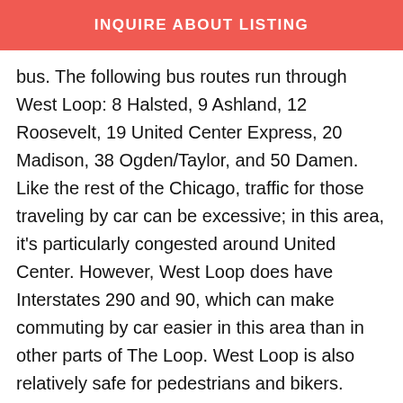INQUIRE ABOUT LISTING
bus. The following bus routes run through West Loop: 8 Halsted, 9 Ashland, 12 Roosevelt, 19 United Center Express, 20 Madison, 38 Ogden/Taylor, and 50 Damen. Like the rest of the Chicago, traffic for those traveling by car can be excessive; in this area, it’s particularly congested around United Center. However, West Loop does have Interstates 290 and 90, which can make commuting by car easier in this area than in other parts of The Loop. West Loop is also relatively safe for pedestrians and bikers. Midway International Airport and O’Hare International Airport are located nearby for convenient national and international travel.
Some people travel to Chicago just to try the deep-dish pizza. Escape the office for lunch or a business meeting and